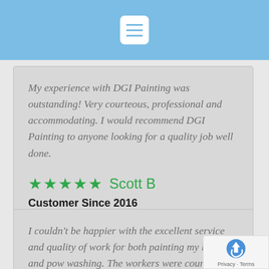[Figure (screenshot): Blue navigation bar with white hamburger menu icon (three horizontal lines in a rounded rectangle)]
My experience with DGI Painting was outstanding! Very courteous, professional and accommodating. I would recommend DGI Painting to anyone looking for a quality job well done.
★★★★★ Scott B
Customer Since 2016
I couldn't be happier with the excellent service and quality of work for both painting my home and pow washing. The workers were courteous, clean and professional; taking great pride in their work. This is a